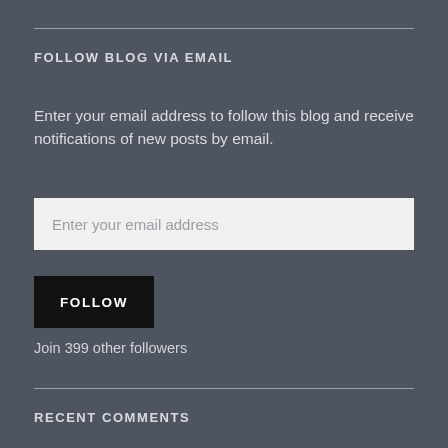FOLLOW BLOG VIA EMAIL
Enter your email address to follow this blog and receive notifications of new posts by email.
[Figure (screenshot): Email input field with placeholder text 'Enter your email address']
[Figure (screenshot): Black FOLLOW button]
Join 399 other followers
RECENT COMMENTS